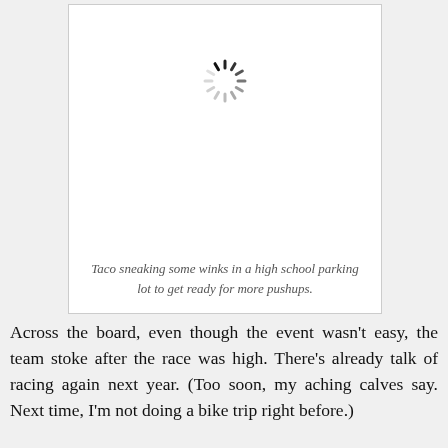[Figure (photo): A loading spinner (circular dashed spinner icon) displayed in a white bordered box, indicating an image that has not loaded. Below the spinner is empty white space.]
Taco sneaking some winks in a high school parking lot to get ready for more pushups.
Across the board, even though the event wasn't easy, the team stoke after the race was high. There's already talk of racing again next year. (Too soon, my aching calves say. Next time, I'm not doing a bike trip right before.)